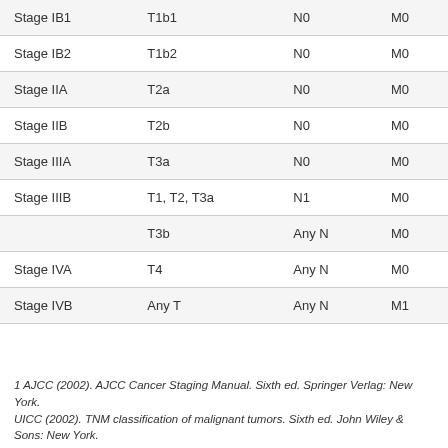| Stage IB1 | T1b1 | N0 | M0 |
| Stage IB2 | T1b2 | N0 | M0 |
| Stage IIA | T2a | N0 | M0 |
| Stage IIB | T2b | N0 | M0 |
| Stage IIIA | T3a | N0 | M0 |
| Stage IIIB | T1, T2, T3a | N1 | M0 |
|  | T3b | Any N | M0 |
| Stage IVA | T4 | Any N | M0 |
| Stage IVB | Any T | Any N | M1 |
1 AJCC (2002). AJCC Cancer Staging Manual. Sixth ed. Springer Verlag: New York.
UICC (2002). TNM classification of malignant tumors. Sixth ed. John Wiley & Sons: New York.